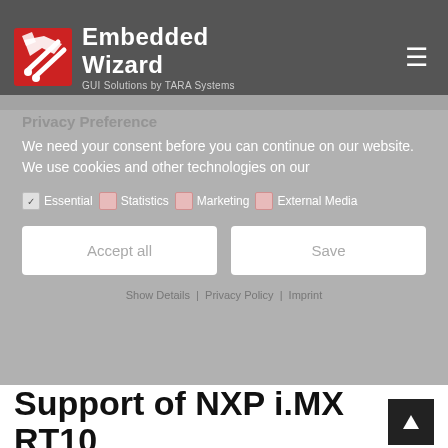Embedded Wizard — GUI Solutions by TARA Systems
[Figure (screenshot): Cookie/privacy preference banner overlay on Embedded Wizard website with Essential, Statistics, Marketing, External Media checkboxes and Accept all / Save buttons]
Support of NXP i.MX RT10
By Marie   Posted on 19/12/2018   Posted in Platform Support, Tool